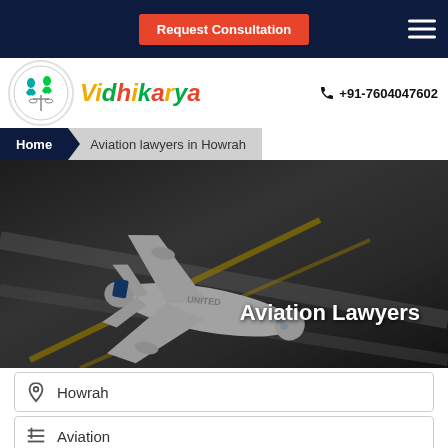Request Consultation
[Figure (logo): Vidhikarya logo with circular emblem showing scales of justice and human figures, with brand name in tricolor stylized text]
+91-7604047602
Home > Aviation lawyers in Howrah
[Figure (photo): Aerial view of United Airlines aircraft on airport tarmac with 'Aviation Lawyers' text overlay]
Howrah
Aviation
Search Lawyer